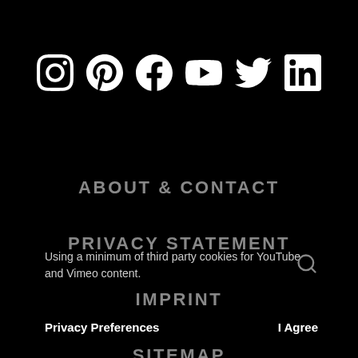[Figure (illustration): Row of 6 social media icons: Instagram, Pinterest, Facebook, YouTube, Twitter, LinkedIn — white on black background]
ABOUT & CONTACT
PRIVACY STATEMENT
IMPRINT
SITEMAP
Using a minimum of third party cookies for YouTube and Vimeo content.
Privacy Preferences
I Agree